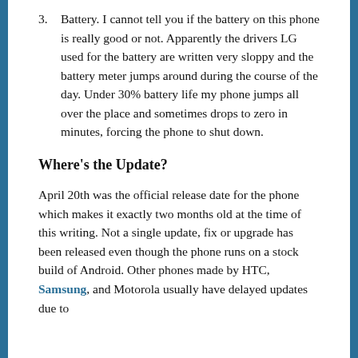3. Battery. I cannot tell you if the battery on this phone is really good or not. Apparently the drivers LG used for the battery are written very sloppy and the battery meter jumps around during the course of the day. Under 30% battery life my phone jumps all over the place and sometimes drops to zero in minutes, forcing the phone to shut down.
Where's the Update?
April 20th was the official release date for the phone which makes it exactly two months old at the time of this writing. Not a single update, fix or upgrade has been released even though the phone runs on a stock build of Android. Other phones made by HTC, Samsung, and Motorola usually have delayed updates due to